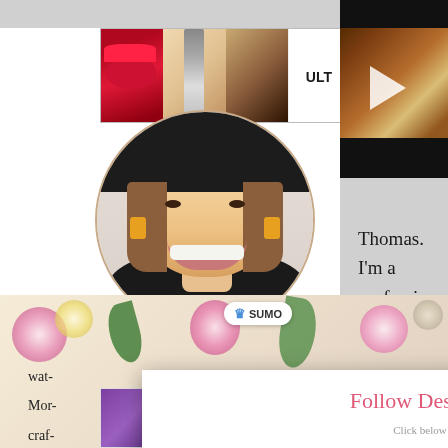[Figure (screenshot): Screenshot of a blog/website page showing overlapping UI elements: a makeup/Ulta beauty banner at top, a food recipe video thumbnail, a profile photo of a smiling woman in a black hat with orange earrings, a SUMO badge, text reading 'Thomas. I'm a professional graphic', a floral background section, partial left-column text fragments (wat-, Mor-, craf-, fulfi-), a popup overlay titled 'Follow Designs By Miss Mandee' with subtitle 'Click below to get exclusive content straight to your feed.' and a DesignsByMissM Pinterest link and CLOSE button, and a MAC cosmetics advertisement at the bottom with lipsticks and a SHOP NOW box.]